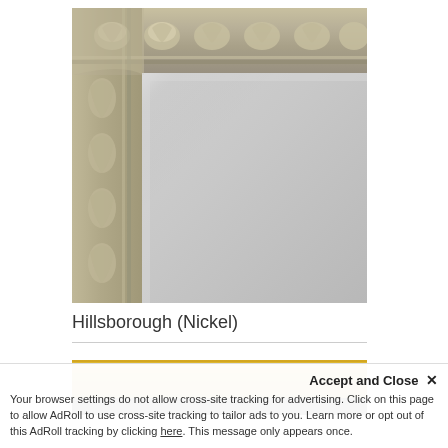[Figure (photo): Close-up photo of the upper-left corner of an ornate silver/nickel-colored picture frame with detailed acanthus leaf and rope carvings. The inner mirror surface is visible showing a beveled edge and light gray reflective surface.]
Hillsborough (Nickel)
[Figure (photo): Partial photo of a second frame showing a gold-colored flat frame with a black inner edge, only the top strip is visible.]
Accept and Close ✕
Your browser settings do not allow cross-site tracking for advertising. Click on this page to allow AdRoll to use cross-site tracking to tailor ads to you. Learn more or opt out of this AdRoll tracking by clicking here. This message only appears once.